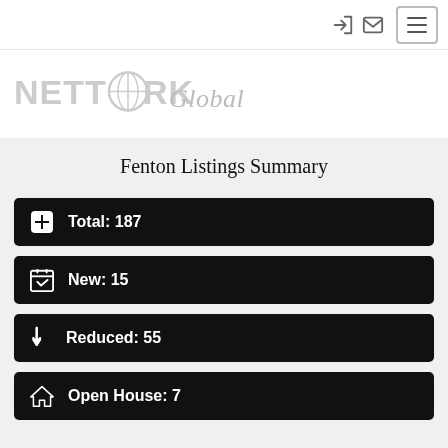Network Global header with login and mail icons, hamburger menu button
[Figure (logo): Network Global logo in light gray text]
Fenton Listings Summary
Total: 187
New: 15
Reduced: 55
Open House: 7